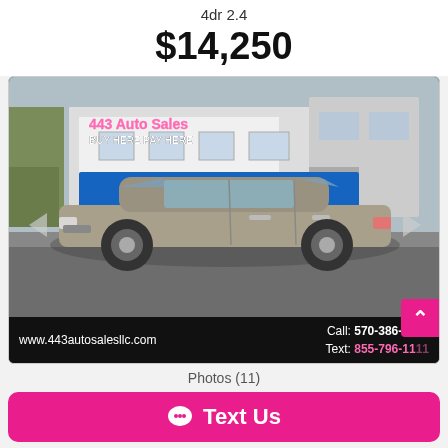4dr 2.4
$14,250
[Figure (photo): Hyundai Santa Fe Sport SUV parked in front of 443 Auto Sales dealership. Blue banner reads '443 AUTO SALES'. Pink text overlay reads '443 Auto Sales BUY HERE PAY HERE'. Bottom bar shows www.443autosalesllc.com, Call: 570-386-0443, Text: 855-796-1111.]
Photos (11)
Text Us